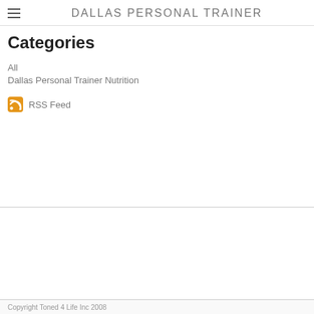DALLAS PERSONAL TRAINER
Categories
All
Dallas Personal Trainer Nutrition
RSS Feed
Copyright Toned 4 Life Inc 2008